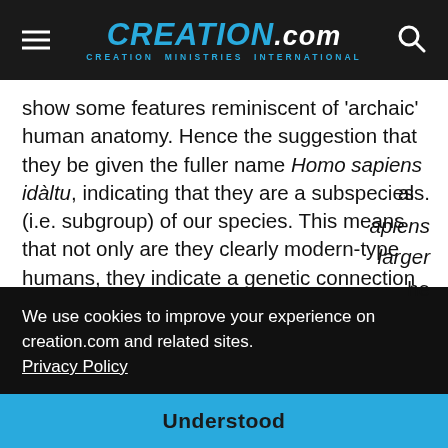CREATION.com — CREATION MINISTRIES INTERNATIONAL
show some features reminiscent of 'archaic' human anatomy. Hence the suggestion that they be given the fuller name Homo sapiens idàltu, indicating that they are a subspecies (i.e. subgroup) of our species. This means that not only are they clearly modern-type humans, they indicate a genetic connection with the types of skulls that Rossists have been trying to sideline as being not [fully modern indivi]als.
[...] sapiens [larger] [the] (Melbourne, Australia).
We use cookies to improve your experience on creation.com and related sites. Privacy Policy
Understood